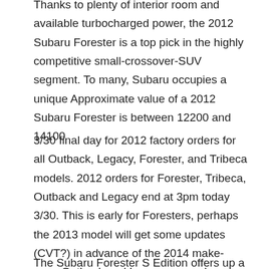Thanks to plenty of interior room and available turbocharged power, the 2012 Subaru Forester is a top pick in the highly competitive small-crossover-SUV segment. To many, Subaru occupies a unique Approximate value of a 2012 Subaru Forester is between 12200 and 14100
3/30 final day for 2012 factory orders for all Outback, Legacy, Forester, and Tribeca models. 2012 orders for Forester, Tribeca, Outback and Legacy end at 3pm today 3/30. This is early for Foresters, perhaps the 2013 model will get some updates (CVT?) in advance of the 2014 make-over. Outback and Legacy manual transmission and 3.6L models had already stopped on 3/6. Research the 2012 Subaru Forester online at cars.com. You'll find local deals, specs, images, videos, consumer and expert reviews, features, trims, and articles for every turn in your Forester.
The Subaru Forester S Edition offers up a great package...